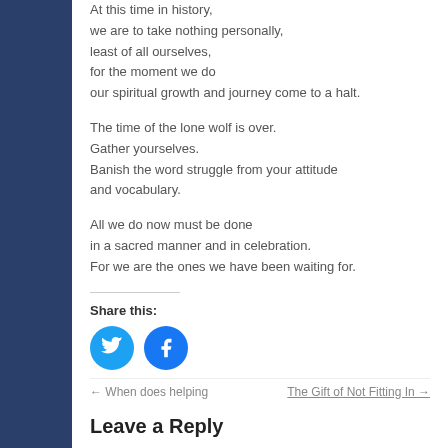At this time in history,
we are to take nothing personally,
least of all ourselves,
for the moment we do
our spiritual growth and journey come to a halt.
The time of the lone wolf is over.
Gather yourselves.
Banish the word struggle from your attitude
and vocabulary.
All we do now must be done
in a sacred manner and in celebration.
For we are the ones we have been waiting for.
Share this:
[Figure (other): Twitter and Facebook share buttons (circular blue icons)]
← When does helping   The Gift of Not Fitting In →
Leave a Reply